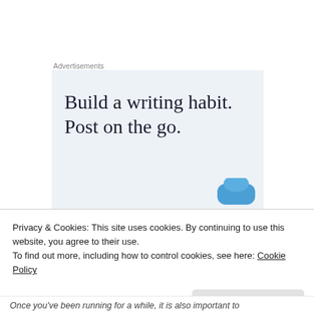Advertisements
[Figure (illustration): Advertisement banner with light blue-grey background showing text 'Build a writing habit. Post on the go.' in large serif font, with a blue circular icon partially visible at bottom right.]
Privacy & Cookies: This site uses cookies. By continuing to use this website, you agree to their use.
To find out more, including how to control cookies, see here: Cookie Policy
Close and accept
Once you've been running for a while, it is also important to